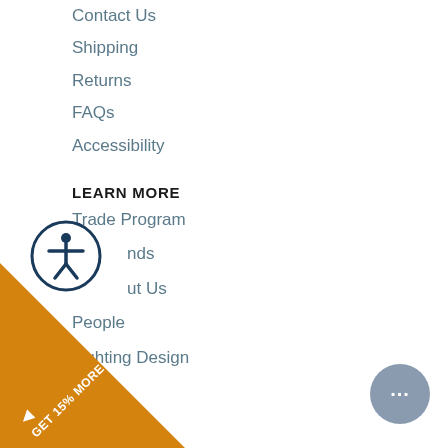Contact Us
Shipping
Returns
FAQs
Accessibility
LEARN MORE
Trade Program
Brands
About Us
People
Lighting Design
Blog
Locations
JOIN OUR MAILING LIST
We promise to send only good things.
[Figure (other): Accessibility icon - person in circle, dark navy border]
[Figure (other): Orange diagonal banner in bottom-left corner with text GET 15% MORE]
[Figure (other): Gray circular chat bubble button in bottom-right corner with ellipsis dots]